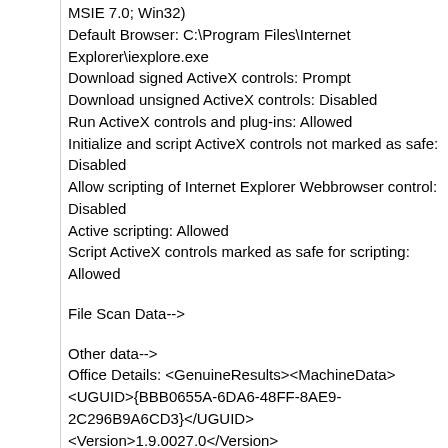MSIE 7.0; Win32)
Default Browser: C:\Program Files\Internet Explorer\iexplore.exe
Download signed ActiveX controls: Prompt
Download unsigned ActiveX controls: Disabled
Run ActiveX controls and plug-ins: Allowed
Initialize and script ActiveX controls not marked as safe: Disabled
Allow scripting of Internet Explorer Webbrowser control: Disabled
Active scripting: Allowed
Script ActiveX controls marked as safe for scripting: Allowed
File Scan Data-->
Other data-->
Office Details: <GenuineResults><MachineData><UGUID>{BBB0655A-6DA6-48FF-8AE9-2C296B9A6CD3}</UGUID><Version>1.9.0027.0</Version><OS>6.0.6000.2.00010300.0.0.003</OS><Architecture>x32</Architecture><PKey>*****-*****-*****-*****-WOD8O</PKey><PID>89578_OEM